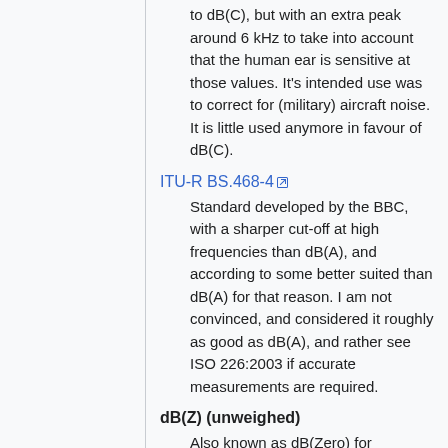to dB(C), but with an extra peak around 6 kHz to take into account that the human ear is sensitive at those values. It's intended use was to correct for (military) aircraft noise. It is little used anymore in favour of dB(C).
ITU-R BS.468-4
Standard developed by the BBC, with a sharper cut-off at high frequencies than dB(A), and according to some better suited than dB(A) for that reason. I am not convinced, and considered it roughly as good as dB(A), and rather see ISO 226:2003 if accurate measurements are required.
dB(Z) (unweighed)
Also known as dB(Zero) for unweighed (uncorrected) sound